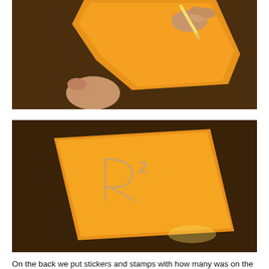[Figure (photo): Child's hands holding orange/yellow paper and drawing on it with a pencil on a wooden table surface.]
[Figure (photo): Orange/yellow square piece of paper on a wooden table with a pencil-drawn R-squared (R²) symbol sketched on it.]
On the back we put stickers and stamps with how many was on the other side. That way we could use both sides of the